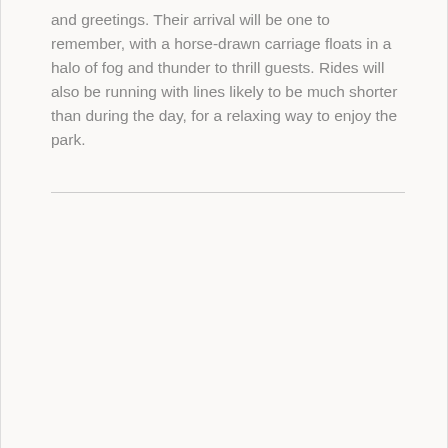and greetings. Their arrival will be one to remember, with a horse-drawn carriage floats in a halo of fog and thunder to thrill guests. Rides will also be running with lines likely to be much shorter than during the day, for a relaxing way to enjoy the park.